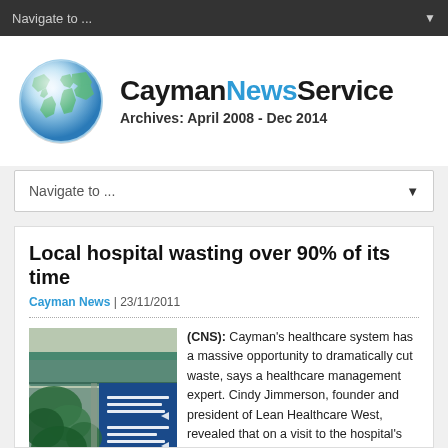Navigate to ...
[Figure (logo): CaymanNewsService logo with globe icon and text 'CaymanNewsService Archives: April 2008 - Dec 2014']
Navigate to ...
Local hospital wasting over 90% of its time
Cayman News | 23/11/2011
[Figure (photo): Photo of hospital entrance sign showing Health Clinic and other directional signage with blue sign board and green foliage]
(CNS): Cayman's healthcare system has a massive opportunity to dramatically cut waste, says a healthcare management expert. Cindy Jimmerson, founder and president of Lean Healthcare West, revealed that on a visit to the hospital's A&E last week, only six percent of the